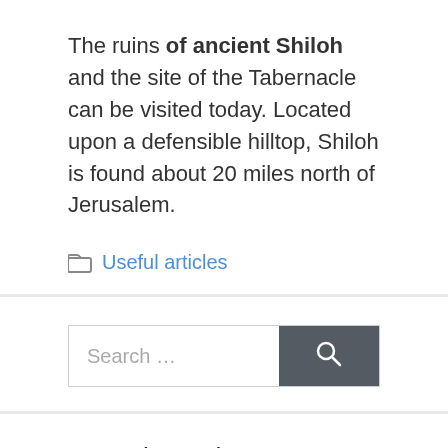The ruins of ancient Shiloh and the site of the Tabernacle can be visited today. Located upon a defensible hilltop, Shiloh is found about 20 miles north of Jerusalem.
Useful articles
Search ...
From the author
[Figure (photo): Partial view of an author photo, cropped at bottom of page]